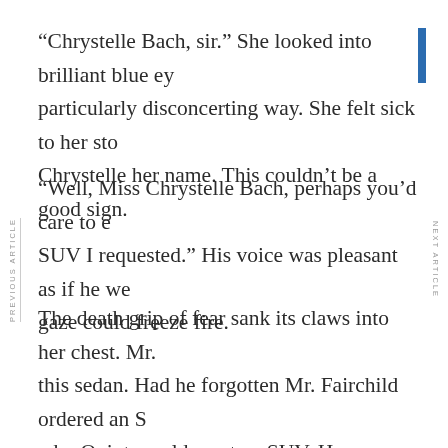“Chrystelle Bach, sir.” She looked into brilliant blue ey… particularly disconcerting way. She felt sick to her sto… Chrystelle her name. This couldn’t be a good sign.
“Well, Miss Chrystelle Bach, perhaps you’d care to e… SUV I requested.” His voice was pleasant as if he we… gaze could freeze fire.
The death grip of fear sank its claws into her chest. Mr.… this sedan. Had he forgotten Mr. Fairchild ordered an S… why Quint would want an SUV. He was well over six f… it was easier to climb in and out of an SUV.